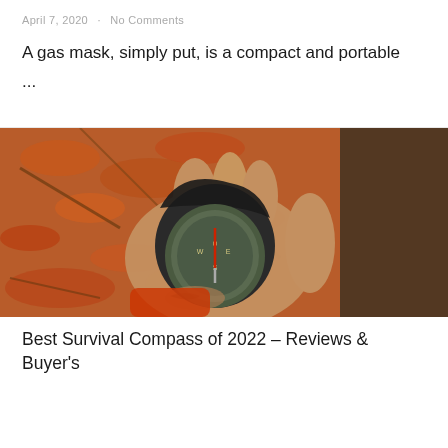April 7, 2020 · No Comments
A gas mask, simply put, is a compact and portable ...
[Figure (photo): A hand holding an open military-style compass with a compass needle visible, with autumn leaves and forest floor in the background.]
Best Survival Compass of 2022 – Reviews & Buyer's